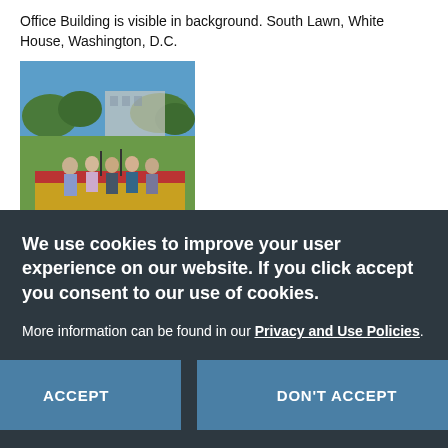Office Building is visible in background. South Lawn, White House, Washington, D.C.
[Figure (photo): Photo of people standing on a decorated platform/stage on the South Lawn of the White House, with the Office Building visible in the background. Blue sky with trees.]
We use cookies to improve your user experience on our website. If you click accept you consent to our use of cookies.
More information can be found in our Privacy and Use Policies.
ACCEPT
DON'T ACCEPT